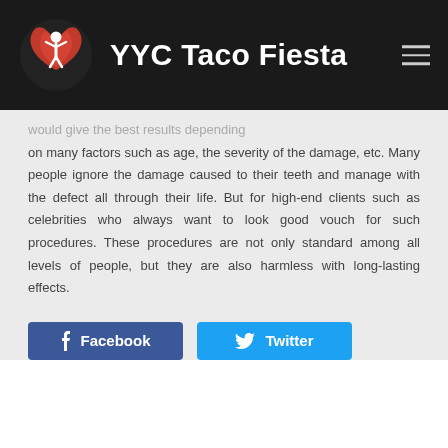YYC Taco Fiesta
would give the best results depending on many factors such as age, the severity of the damage, etc. Many people ignore the damage caused to their teeth and manage with the defect all through their life. But for high-end clients such as celebrities who always want to look good vouch for such procedures. These procedures are not only standard among all levels of people, but they are also harmless with long-lasting effects.
[Figure (other): Facebook and Twitter social share buttons]